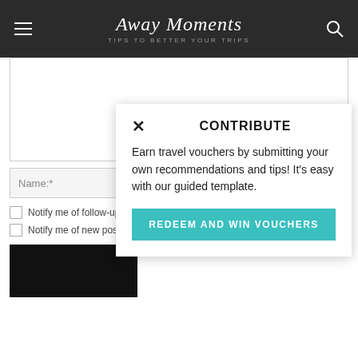Away Moments — TIPS TO BETTER YOUR TRIPS
[Figure (screenshot): Comment form with textarea, name/email/website fields, and notification checkboxes on a travel blog called Away Moments]
Name:*
Email:*
Website:
Notify me of follow-up
Notify me of new posts
CONTRIBUTE
Earn travel vouchers by submitting your own recommendations and tips! It's easy with our guided template.
REDEEM AND WIN VOUCHERS